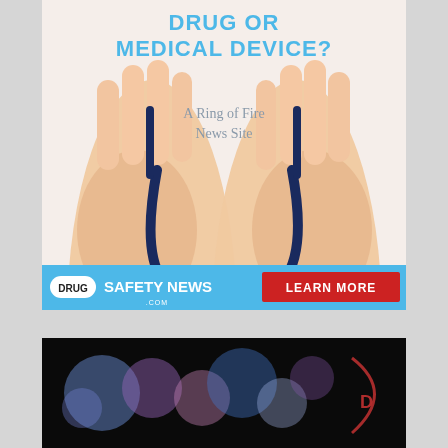[Figure (illustration): Advertisement banner showing two hands holding a stethoscope against a white background with text 'DRUG OR MEDICAL DEVICE?' in blue at the top and 'A Ring of Fire News Site' in gray in the middle. Below is a light blue bar with the Drug Safety News .com logo on the left and a red 'LEARN MORE' button on the right.]
[Figure (photo): Dark banner image at the bottom showing blurred colorful bokeh lights on a dark background, with partial text or logo visible on the right edge.]